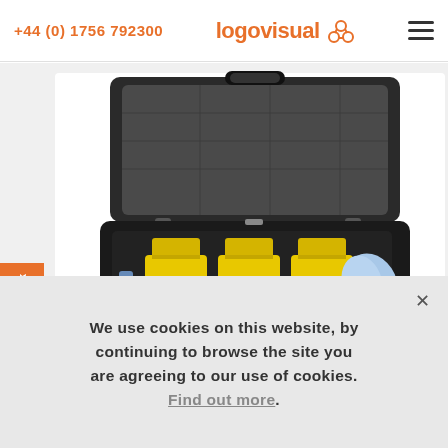+44 (0) 1756 792300 | logovisual
[Figure (photo): Open black protective carry case containing three yellow foam/sponge blocks, a bottle of cleaning solution, markers, and a blue microfiber cloth, photographed on a white background.]
We use cookies on this website, by continuing to browse the site you are agreeing to our use of cookies. Find out more.